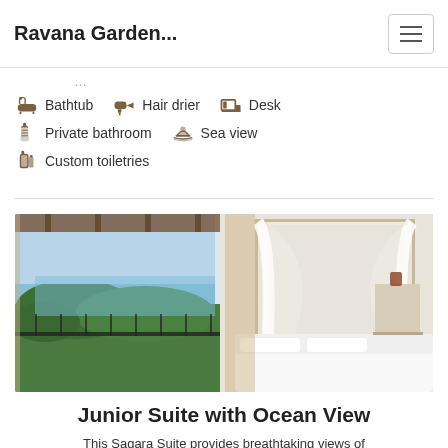Ravana Garden...
Bathtub
Hair drier
Desk
Private bathroom
Sea view
Custom toiletries
[Figure (photo): Hotel room with canopy bed draped in white netting, open to a balcony with ocean and tropical garden view]
Junior Suite with Ocean View
This Sagara Suite provides breathtaking views of